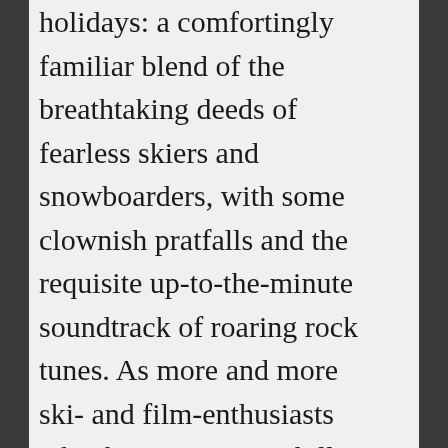holidays: a comfortingly familiar blend of the breathtaking deeds of fearless skiers and snowboarders, with some clownish pratfalls and the requisite up-to-the-minute soundtrack of roaring rock tunes. As more and more ski- and film-enthusiasts take their cameras uphill these days, there are also more and more festivals to showcase these testimonials to guts, glory, and goofiness (after all, snow sports are fun, lest you have forgotten or never known the rush of pointing those skis downhill and feeling like you've learned